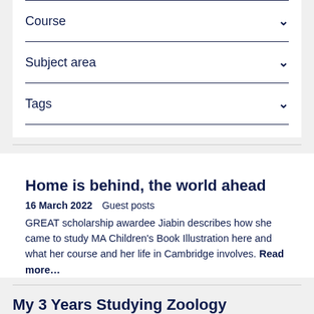Course
Subject area
Tags
Home is behind, the world ahead
16 March 2022   Guest posts
GREAT scholarship awardee Jiabin describes how she came to study MA Children's Book Illustration here and what her course and her life in Cambridge involves. Read more…
My 3 Years Studying Zoology